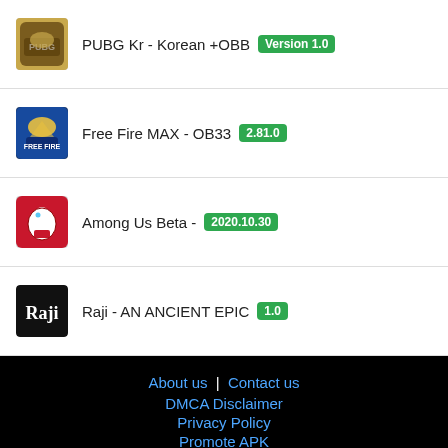PUBG Kr - Korean +OBB Version 1.0
Free Fire MAX - OB33 2.81.0
Among Us Beta - 2020.10.30
Raji - AN ANCIENT EPIC 1.0
About us | Contact us
DMCA Disclaimer
Privacy Policy
Promote APK
© 2022 WapSoft All rights reserved.
WapSoft is not affiliated with Google, Android in any way. Android is a trademark of Google Inc.